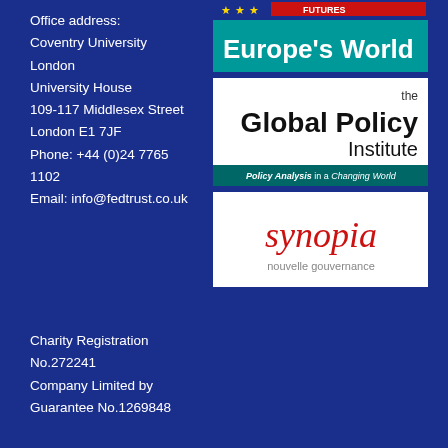Office address:
Coventry University London
University House
109-117 Middlesex Street
London E1 7JF
Phone: +44 (0)24 7765 1102
Email: info@fedtrust.co.uk
[Figure (logo): Europe's World magazine logo - teal/green banner with bold white text]
[Figure (logo): The Global Policy Institute logo - white background, bold black text, red tagline 'Policy Analysis in a Changing World']
[Figure (logo): Synopia nouvelle gouvernance logo - white background, red cursive synopia text]
Charity Registration No.272241
Company Limited by Guarantee No.1269848